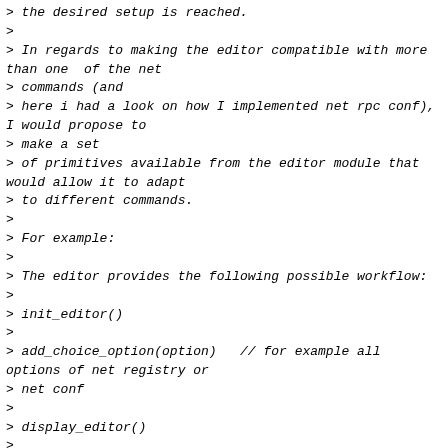> the desired setup is reached.
>
> In regards to making the editor compatible with more than one  of the net
> commands (and
> here i had a look on how I implemented net rpc conf), I would propose to
> make a set
> of primitives available from the editor module that would allow it to adapt
> to different commands.
>
> For example:
>
> The editor provides the following possible workflow:
>
> init_editor()
>
> add_choice_option(option)   // for example all options of net registry or
> net conf
>
> display_editor()
>
> ..... wait for user input .....
>
> get_choice()
>
> ->now the editor provides some functions like:
>